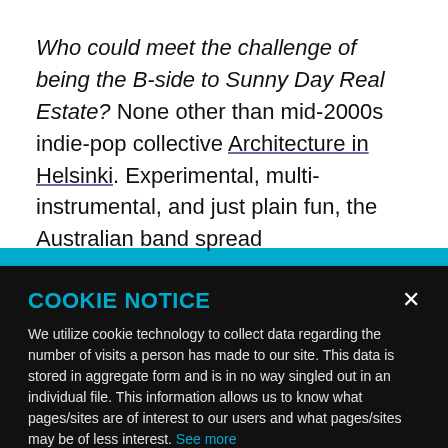Who could meet the challenge of being the B-side to Sunny Day Real Estate? None other than mid-2000s indie-pop collective Architecture in Helsinki. Experimental, multi-instrumental, and just plain fun, the Australian band spread
COOKIE NOTICE
We utilize cookie technology to collect data regarding the number of visits a person has made to our site. This data is stored in aggregate form and is in no way singled out in an individual file. This information allows us to know what pages/sites are of interest to our users and what pages/sites may be of less interest. See more